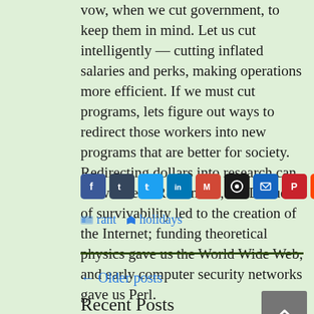vow, when we cut government, to keep them in mind. Let us cut intelligently — cutting inflated salaries and perks, making operations more efficient. If we must cut programs, lets figure out ways to redirect those workers into new programs that are better for society. Redirecting dollars into research can do wonders. Remember, DOD studies of survivability led to the creation of the Internet; funding theoretical physics gave us the World Wide Web, and early computer security networks gave us Perl.
[Figure (other): Social sharing icons: Facebook, Tumblr, Twitter, LinkedIn, Gmail, WhatsApp, Email, Pinterest, Reddit, and a Share button]
rant  holidays
← Older posts
Recent Posts
🏔 Changes to the California Highway Website covering May – July 2022